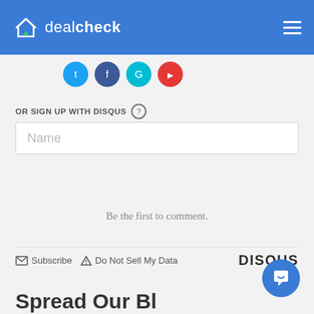dealcheck
[Figure (other): Social media login icons: Twitter (blue), Facebook (dark blue), Google (teal), YouTube/Google (red) circular icon buttons]
OR SIGN UP WITH DISQUS
Name
Be the first to comment.
Subscribe  Do Not Sell My Data  DISQUS
Spread Our Bl...